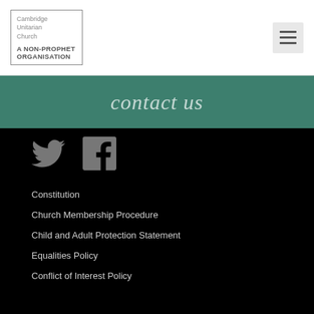Cambridge Unitarian Church — A NON-PROPHET ORGANISATION (logo) | hamburger menu
contact us
[Figure (illustration): Twitter bird icon (gray) and Facebook 'f' icon (gray) on black background]
Constitution
Church Membership Procedure
Child and Adult Protection Statement
Equalities Policy
Conflict of Interest Policy